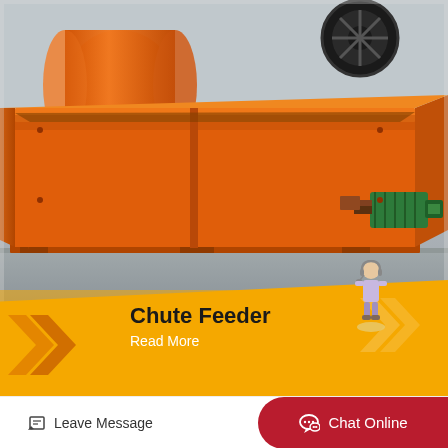[Figure (photo): Orange industrial chute feeder machine photographed outdoors on a concrete surface. The machine is a large rectangular trough-shaped steel feeding device painted bright orange, with structural support legs and a green electric motor/gearbox assembly on the right side. In the background, another large orange cylindrical ball mill machine is visible.]
Chute Feeder
Read More
Leave Message
Chat Online